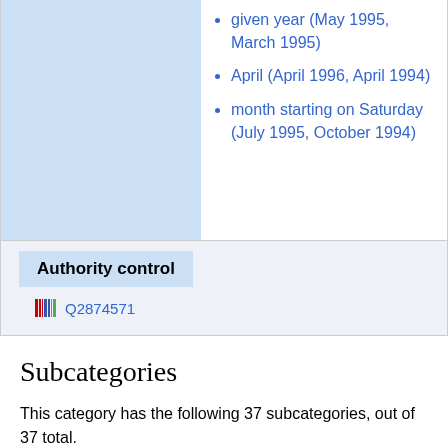given year (May 1995, March 1995)
April (April 1996, April 1994)
month starting on Saturday (July 1995, October 1994)
Authority control
Q2874571
Subcategories
This category has the following 37 subcategories, out of 37 total.